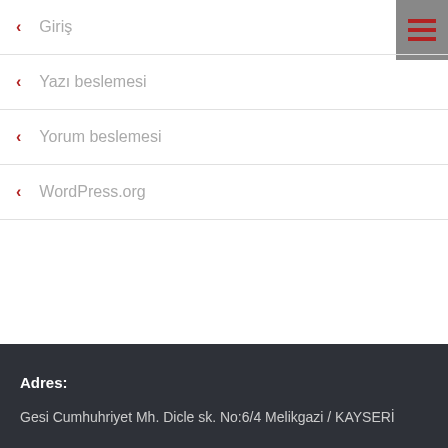Giriş
Yazı beslemesi
Yorum beslemesi
WordPress.org
Adres:
Gesi Cumhuhriyet Mh. Dicle sk. No:6/4 Melikgazi / KAYSERİ